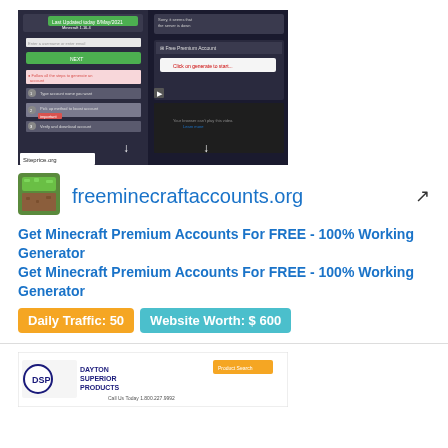[Figure (screenshot): Screenshot of freeminecraftaccounts.org website showing a generator interface with Siteprice.org watermark]
freeminecraftaccounts.org
Get Minecraft Premium Accounts For FREE - 100% Working Generator
Get Minecraft Premium Accounts For FREE - 100% Working Generator
Daily Traffic: 50   Website Worth: $ 600
[Figure (screenshot): Screenshot of Dayton Superior Products website partial view]